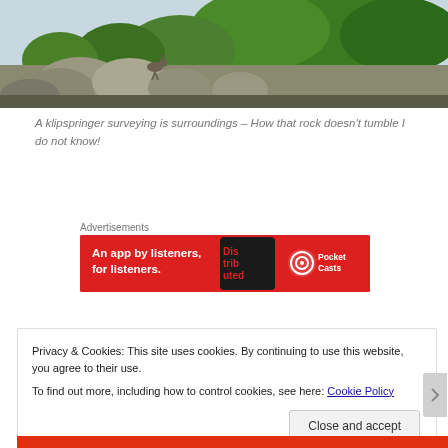[Figure (photo): A klipspringer antelope standing on a large rock among boulders with green bush and trees in the background]
A klipspringer surveying is surroundings – How that rock doesn't tumble I do not know!
Advertisements
[Figure (infographic): Red advertisement banner for Pocket Casts app reading: An app by listeners, for listeners. with a podcast logo and Pocket Casts branding]
Privacy & Cookies: This site uses cookies. By continuing to use this website, you agree to their use.
To find out more, including how to control cookies, see here: Cookie Policy
Close and accept